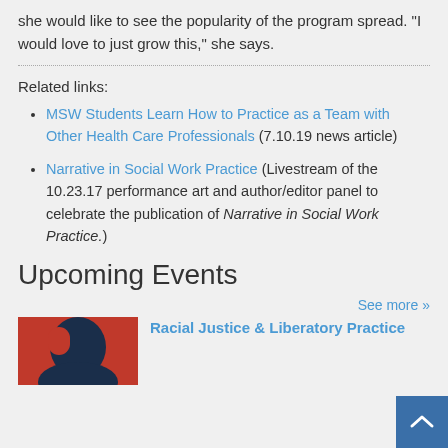she would like to see the popularity of the program spread. “I would love to just grow this,” she says.
Related links:
MSW Students Learn How to Practice as a Team with Other Health Care Professionals (7.10.19 news article)
Narrative in Social Work Practice (Livestream of the 10.23.17 performance art and author/editor panel to celebrate the publication of Narrative in Social Work Practice.
Upcoming Events
See more »
Racial Justice & Liberatory Practice